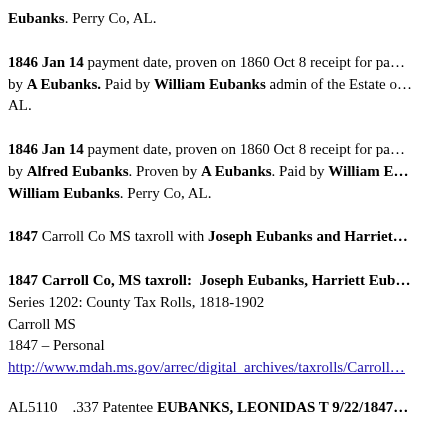Eubanks. Perry Co, AL.
1846 Jan 14 payment date, proven on 1860 Oct 8 receipt for pa... by A Eubanks. Paid by William Eubanks admin of the Estate of... AL.
1846 Jan 14 payment date, proven on 1860 Oct 8 receipt for pa... by Alfred Eubanks. Proven by A Eubanks. Paid by William E... William Eubanks. Perry Co, AL.
1847 Carroll Co MS taxroll with Joseph Eubanks and Harriet...
1847 Carroll Co, MS taxroll: Joseph Eubanks, Harriett Eub...
Series 1202: County Tax Rolls, 1818-1902
Carroll MS
1847 – Personal
http://www.mdah.ms.gov/arrec/digital_archives/taxrolls/Carroll...
AL5110    .337 Patentee EUBANKS, LEONIDAS T 9/22/1847...